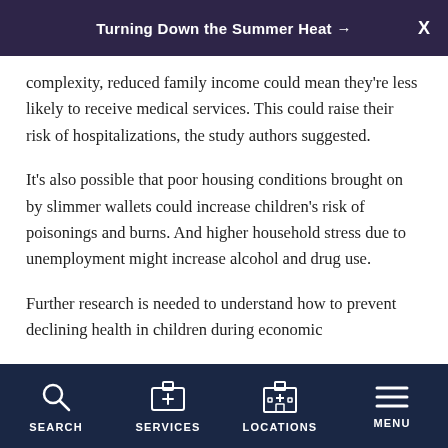Turning Down the Summer Heat →
complexity, reduced family income could mean they're less likely to receive medical services. This could raise their risk of hospitalizations, the study authors suggested.
It's also possible that poor housing conditions brought on by slimmer wallets could increase children's risk of poisonings and burns. And higher household stress due to unemployment might increase alcohol and drug use.
Further research is needed to understand how to prevent declining health in children during economic
SEARCH  SERVICES  LOCATIONS  MENU